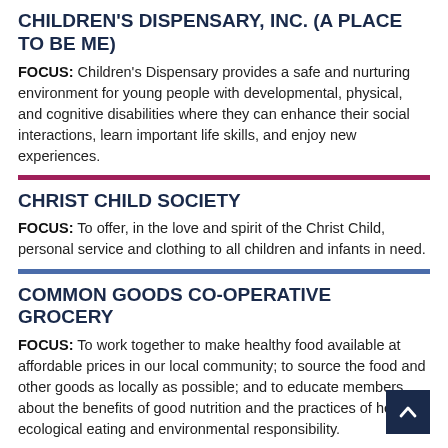CHILDREN'S DISPENSARY, INC. (A PLACE TO BE ME)
FOCUS: Children's Dispensary provides a safe and nurturing environment for young people with developmental, physical, and cognitive disabilities where they can enhance their social interactions, learn important life skills, and enjoy new experiences.
CHRIST CHILD SOCIETY
FOCUS: To offer, in the love and spirit of the Christ Child, personal service and clothing to all children and infants in need.
COMMON GOODS CO-OPERATIVE GROCERY
FOCUS: To work together to make healthy food available at affordable prices in our local community; to source the food and other goods as locally as possible; and to educate members about the benefits of good nutrition and the practices of healthy, ecological eating and environmental responsibility.
CORVILLA, INC.
FOCUS: To provide homes, employment services, and educational